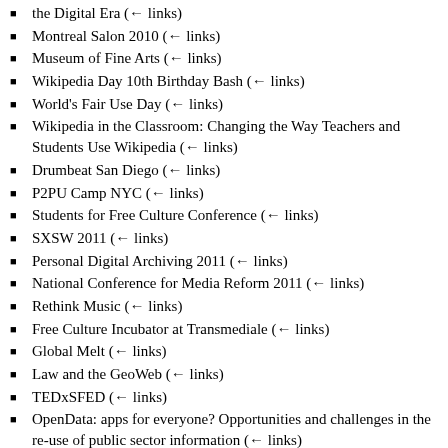the Digital Era  (← links)
Montreal Salon 2010  (← links)
Museum of Fine Arts  (← links)
Wikipedia Day 10th Birthday Bash  (← links)
World's Fair Use Day  (← links)
Wikipedia in the Classroom: Changing the Way Teachers and Students Use Wikipedia  (← links)
Drumbeat San Diego  (← links)
P2PU Camp NYC  (← links)
Students for Free Culture Conference  (← links)
SXSW 2011  (← links)
Personal Digital Archiving 2011  (← links)
National Conference for Media Reform 2011  (← links)
Rethink Music  (← links)
Free Culture Incubator at Transmediale  (← links)
Global Melt  (← links)
Law and the GeoWeb  (← links)
TEDxSFED  (← links)
OpenData: apps for everyone? Opportunities and challenges in the re-use of public sector information  (← links)
OCWC Global 2011: Celebrating 10 Years of OpenCourseWare  (← links)
Data 2.0  (← links)
Sage Congress 2011  (← links)
International Linked Open Data in Libraries, Archives, and Museums Summit  (← links)